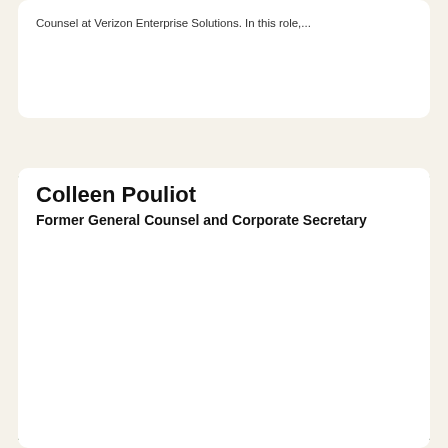Counsel at Verizon Enterprise Solutions. In this role,...
[Figure (photo): Headshot photo of Colleen Pouliot, a woman with medium-length brown hair and bangs, smiling, with green foliage in the background.]
Colleen Pouliot
Former General Counsel and Corporate Secretary